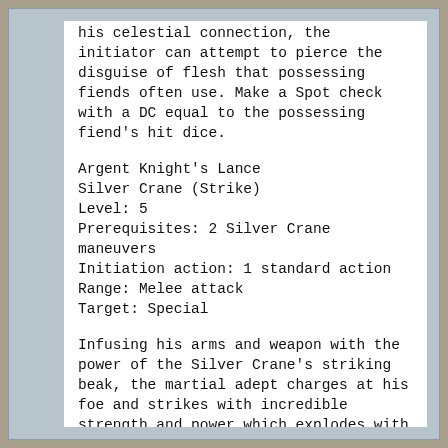his celestial connection, the initiator can attempt to pierce the disguise of flesh that possessing fiends often use. Make a Spot check with a DC equal to the possessing fiend's hit dice.
Argent Knight's Lance
Silver Crane (Strike)
Level: 5
Prerequisites: 2 Silver Crane maneuvers
Initiation action: 1 standard action
Range: Melee attack
Target: Special
Infusing his arms and weapon with the power of the Silver Crane's striking beak, the martial adept charges at his foe and strikes with incredible strength and power which explodes with celestial light. Upon making a successful charge attack, the strike inflicts an additional 8d6 points of damage and heals the initiator...